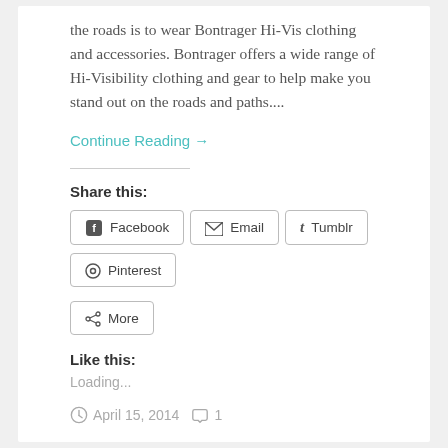the roads is to wear Bontrager Hi-Vis clothing and accessories. Bontrager offers a wide range of Hi-Visibility clothing and gear to help make you stand out on the roads and paths....
Continue Reading →
Share this:
Facebook  Email  Tumblr  Pinterest  More
Like this:
Loading...
April 15, 2014   1